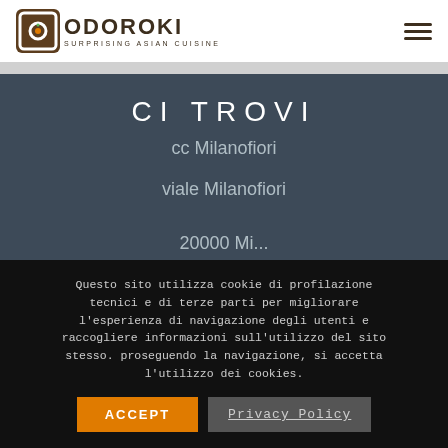[Figure (logo): Odoroki Surprising Asian Cuisine logo with square icon and text]
CI TROVI
cc Milanofiori
viale Milanofiori
20000 Mi...
Questo sito utilizza cookie di profilazione tecnici e di terze parti per migliorare l'esperienza di navigazione degli utenti e raccogliere informazioni sull'utilizzo del sito stesso. proseguendo la navigazione, si accetta l'utilizzo dei cookies.
ACCEPT
Privacy Policy